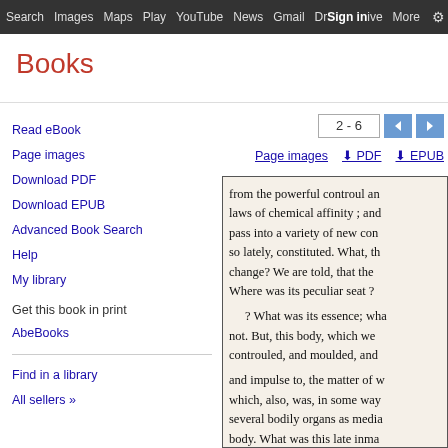Search  Images  Maps  Play  YouTube  News  Gmail  Drive  More  Sign In  ⚙
Books
Read eBook
Page images
Download PDF
Download EPUB
Advanced Book Search
Help
My library
Get this book in print
AbeBooks
Find in a library
All sellers »
2 - 6
Page images   ⬇ PDF   ⬇ EPUB
[Figure (screenshot): Scanned book page showing text: from the powerful controul and laws of chemical affinity ; and pass into a variety of new co... so lately, constituted. What, th... change? We are told, that the... Where was its peculiar seat? ... ? What was its essence; wha... not. But, this body, which we... controuled, and moulded, and... and impulse to, the matter of w... which, also, was, in some way... several bodily organs as media... body. What was this late inma... linked it to the living frame?]